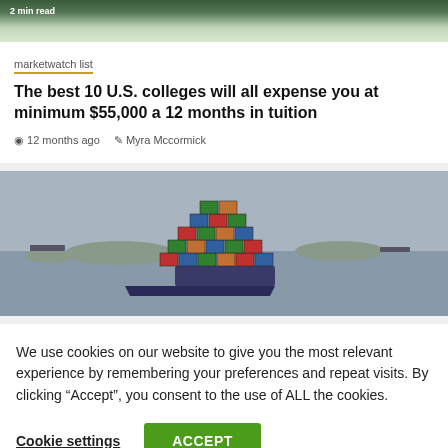[Figure (photo): Partial aerial/landscape photo cropped at top, showing green terrain]
marketwatch list
The best 10 U.S. colleges will all expense you at minimum $55,000 a 12 months in tuition
12 months ago   Myra Mccormick
[Figure (photo): Photo of a large container ship loaded with colorful shipping containers on a calm gray sea with islands in the background]
We use cookies on our website to give you the most relevant experience by remembering your preferences and repeat visits. By clicking “Accept”, you consent to the use of ALL the cookies.
Cookie settings
ACCEPT